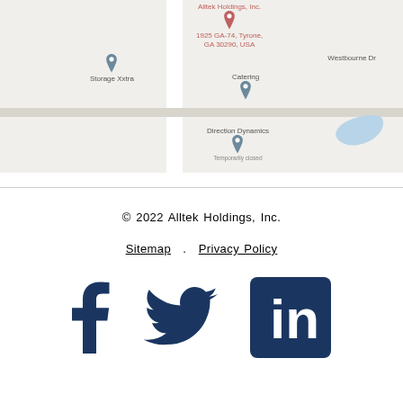[Figure (map): Google Maps screenshot showing Alltek Holdings Inc at 1925 GA-74, Tyrone, GA 30290, USA, with nearby landmarks: Storage Xxtra, Catering, Direction Dynamics (Temporarily closed), and Westbourne Dr label. A water body is visible in the lower right.]
© 2022 Alltek Holdings, Inc.
Sitemap . Privacy Policy
[Figure (infographic): Social media icons: Facebook, Twitter, LinkedIn in dark navy blue]